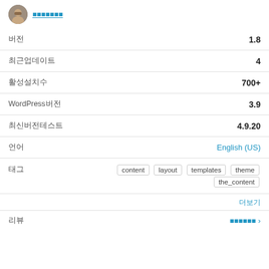[Figure (photo): Small circular avatar photo of a person with beard]
버전 1.8
최근업데이트 4
활성설치수 700+
WordPress버전 3.9
최신버전테스트 4.9.20
언어 English (US)
태그 content layout templates theme the_content
더보기
리뷰